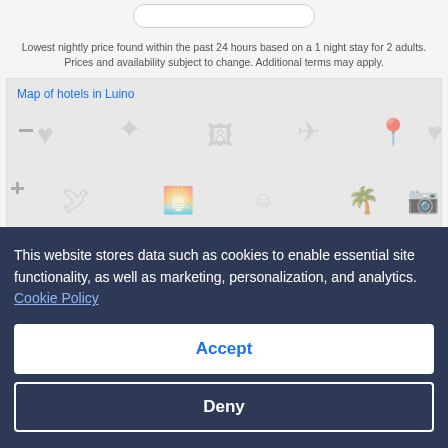Lowest nightly price found within the past 24 hours based on a 1 night stay for 2 adults. Prices and availability subject to change. Additional terms may apply.
[Figure (map): Map of hotels in Luino showing map area with various travel icons in grey]
View map
Top luxury Luino hotel deals
This website stores data such as cookies to enable essential site functionality, as well as marketing, personalization, and analytics. Cookie Policy
Accept
Deny